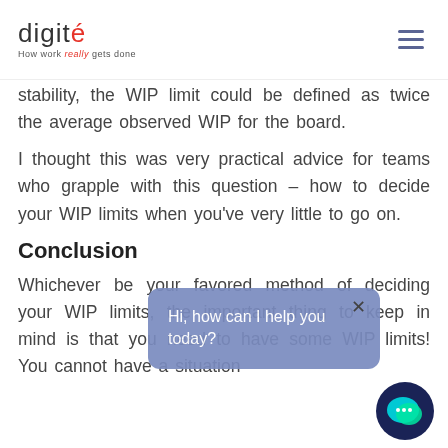digité — How work really gets done
stability, the WIP limit could be defined as twice the average observed WIP for the board.
I thought this was very practical advice for teams who grapple with this question – how to decide your WIP limits when you've very little to go on.
Conclusion
Whichever be your favored method of deciding your WIP limits, the important thing to keep in mind is that you need to have some WIP limits! You cannot have a situation
[Figure (screenshot): Chat popup overlay showing 'Hi, how can I help you today?' with a close button, and a chat icon with speech bubble in the lower right corner.]